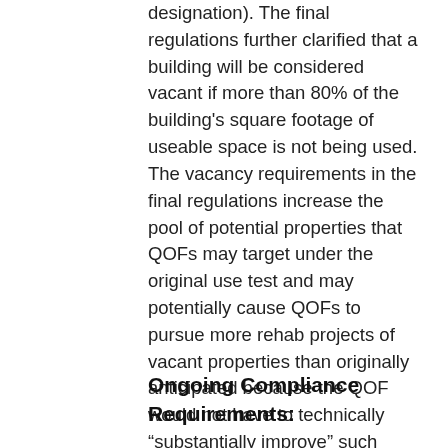designation). The final regulations further clarified that a building will be considered vacant if more than 80% of the building's square footage of useable space is not being used. The vacancy requirements in the final regulations increase the pool of potential properties that QOFs may target under the original use test and may potentially cause QOFs to pursue more rehab projects of vacant properties than originally anticipated because the QOF would not have to technically "substantially improve" such properties.
Ongoing Compliance Requirements: